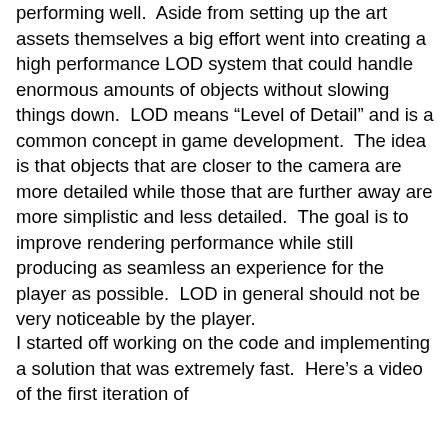performing well.  Aside from setting up the art assets themselves a big effort went into creating a high performance LOD system that could handle enormous amounts of objects without slowing things down.  LOD means “Level of Detail” and is a common concept in game development.  The idea is that objects that are closer to the camera are more detailed while those that are further away are more simplistic and less detailed.  The goal is to improve rendering performance while still producing as seamless an experience for the player as possible.  LOD in general should not be very noticeable by the player.
I started off working on the code and implementing a solution that was extremely fast.  Here’s a video of the first iteration of